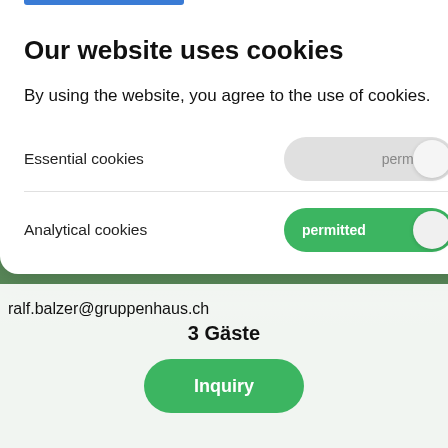Our website uses cookies
By using the website, you agree to the use of cookies.
Essential cookies — permitted (toggle off)
Analytical cookies — permitted (toggle on)
ralf.balzer@gruppenhaus.ch
3 Gäste
Inquiry